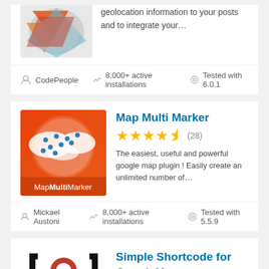[Figure (screenshot): Plugin logo for a geolocation/map plugin - abstract geometric shapes in orange, red, gray and teal]
geolocation information to your posts and to integrate your…
CodePeople
8,000+ active installations
Tested with 6.0.1
[Figure (illustration): Map Multi Marker plugin logo - red/orange gradient background with white world map and blue location pins, text MapMultiMarker at bottom]
Map Multi Marker
(28)
The easiest, useful and powerful google map plugin ! Easily create an unlimited number of…
Mickael Austoni
8,000+ active installations
Tested with 5.5.9
[Figure (logo): Simple Shortcode for GoogleMaps plugin logo - black bracket symbols with red circle]
Simple Shortcode for GoogleMaps